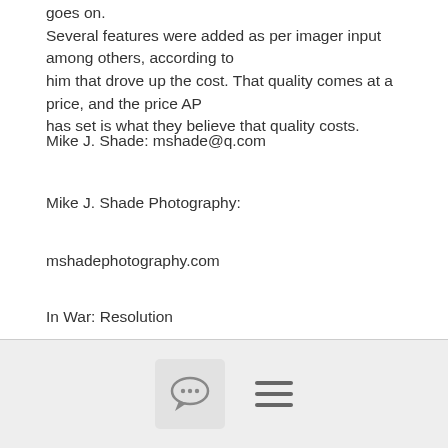goes on.
Several features were added as per imager input among others, according to
him that drove up the cost. That quality comes at a price, and the price AP
has set is what they believe that quality costs.
Mike J. Shade: mshade@q.com
Mike J. Shade Photography:
mshadephotography.com
In War: Resolution
In Defeat: Defiance
In Victory: Magnanimity
[comment icon] [menu icon]